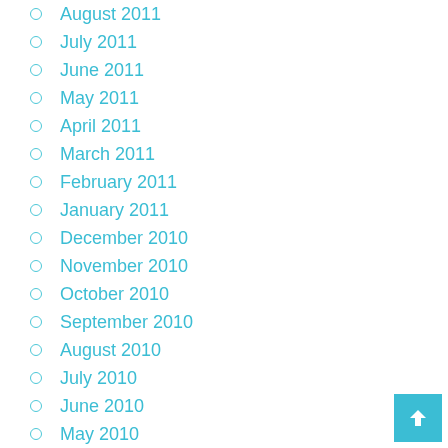August 2011
July 2011
June 2011
May 2011
April 2011
March 2011
February 2011
January 2011
December 2010
November 2010
October 2010
September 2010
August 2010
July 2010
June 2010
May 2010